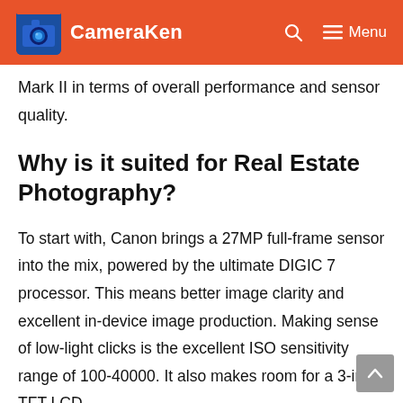CameraKen
Mark II in terms of overall performance and sensor quality.
Why is it suited for Real Estate Photography?
To start with, Canon brings a 27MP full-frame sensor into the mix, powered by the ultimate DIGIC 7 processor. This means better image clarity and excellent in-device image production. Making sense of low-light clicks is the excellent ISO sensitivity range of 100-40000. It also makes room for a 3-inch TFT LCD